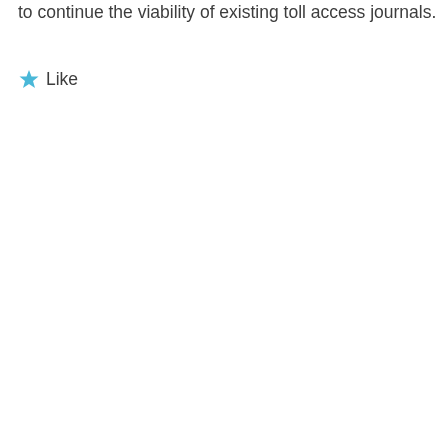to continue the viability of existing toll access journals.
★ Like